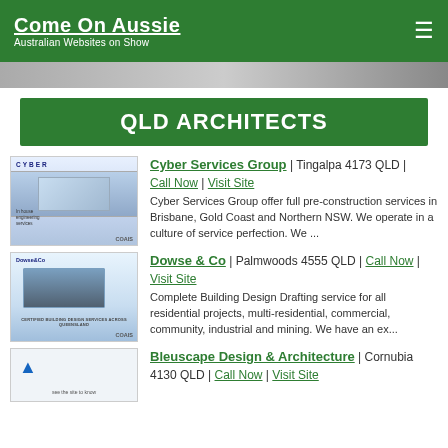Come On Aussie | Australian Websites on Show
QLD ARCHITECTS
Cyber Services Group | Tingalpa 4173 QLD | Call Now | Visit Site
Cyber Services Group offer full pre-construction services in Brisbane, Gold Coast and Northern NSW. We operate in a culture of service perfection. We ...
Dowse & Co | Palmwoods 4555 QLD | Call Now | Visit Site
Complete Building Design Drafting service for all residential projects, multi-residential, commercial, community, industrial and mining. We have an ex...
Bleuscape Design & Architecture | Cornubia 4130 QLD | Call Now | Visit Site